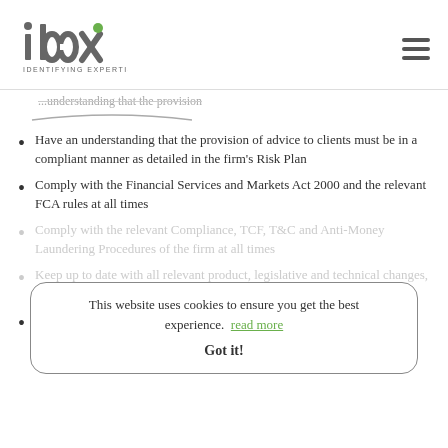[Figure (logo): IDEX Consulting logo with 'IDENTIFYING EXPERTISE' tagline]
Have an understanding that the provision of advice to clients must be in a compliant manner as detailed in the firm's Risk Plan
Comply with the Financial Services and Markets Act 2000 and the relevant FCA rules at all times
Comply with the relevant Compliance, TCF, T&C and Anti-Money Laundering Procedures of the firm at all times
Keep up to date with all relevant product, legislative and technical changes, as required
Follow appropriate ethical standards